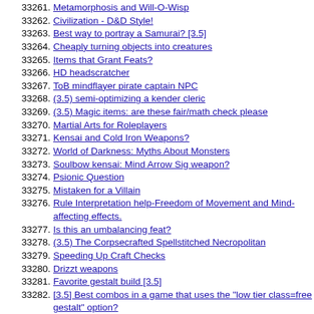33261. Metamorphosis and Will-O-Wisp
33262. Civilization - D&D Style!
33263. Best way to portray a Samurai? [3.5]
33264. Cheaply turning objects into creatures
33265. Items that Grant Feats?
33266. HD headscratcher
33267. ToB mindflayer pirate captain NPC
33268. (3.5) semi-optimizing a kender cleric
33269. (3.5) Magic items: are these fair/math check please
33270. Martial Arts for Roleplayers
33271. Kensai and Cold Iron Weapons?
33272. World of Darkness: Myths About Monsters
33273. Soulbow kensai: Mind Arrow Sig weapon?
33274. Psionic Question
33275. Mistaken for a Villain
33276. Rule Interpretation help-Freedom of Movement and Mind-affecting effects.
33277. Is this an umbalancing feat?
33278. (3.5) The Corpsecrafted Spellstitched Necropolitan
33279. Speeding Up Craft Checks
33280. Drizzt weapons
33281. Favorite gestalt build [3.5]
33282. [3.5] Best combos in a game that uses the "low tier class=free gestalt" option?
33283. [3.5] Whirling Blade and Swarms?
33284. [3.5] Makin' A Zombie One-Shot
33285. [3.5/PF] Shield Specialization/Focus and Block Arrow
33286. [3.5] The most slams?
33287. Would this character concept survive?
33288. Magical Specialist Idea
33289. (partial, cut off)